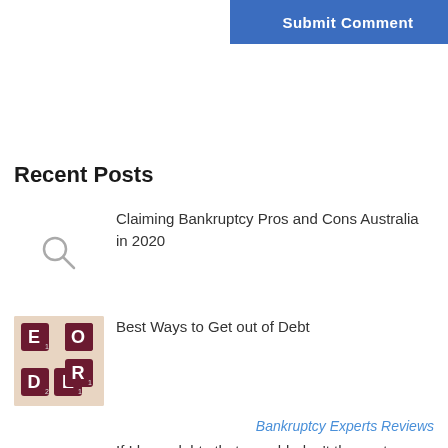[Figure (screenshot): Blue 'Submit Comment' button at top right of page]
Recent Posts
[Figure (illustration): Magnifying glass placeholder icon for post thumbnail]
Claiming Bankruptcy Pros and Cons Australia in 2020
[Figure (photo): Scrabble tiles spelling DEBT on a light background]
Best Ways to Get out of Debt
Bankruptcy Experts Reviews
[Figure (illustration): Magnifying glass placeholder icon for post thumbnail]
If I have debts that are old, don't they get written off anyway?